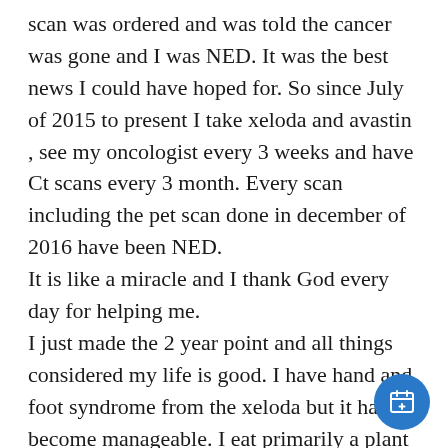scan was ordered and was told the cancer was gone and I was NED. It was the best news I could have hoped for. So since July of 2015 to present I take xeloda and avastin , see my oncologist every 3 weeks and have Ct scans every 3 month. Every scan including the pet scan done in december of 2016 have been NED.
It is like a miracle and I thank God every day for helping me.
I just made the 2 year point and all things considered my life is good. I have hand and foot syndrome from the xeloda but it has become manageable. I eat primarily a plant based diet, exercise, take supplements, do acupuncture and yoga and try my best to stay positive. I have